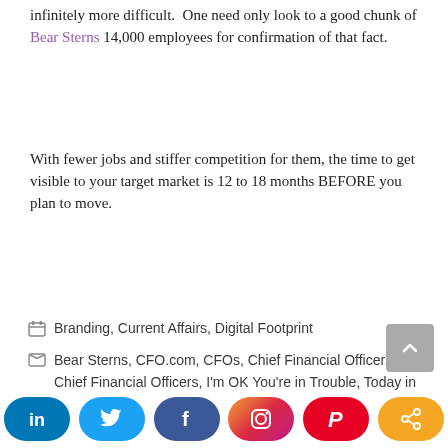infinitely more difficult. One need only look to a good chunk of Bear Sterns 14,000 employees for confirmation of that fact.
With fewer jobs and stiffer competition for them, the time to get visible to your target market is 12 to 18 months BEFORE you plan to move.
Categories: Branding, Current Affairs, Digital Footprint
Tags: Bear Sterns, CFO.com, CFOs, Chief Financial Officer, Chief Financial Officers, I'm OK You're in Trouble, Today in Finance
1 Comment
[Figure (other): Social sharing bar with LinkedIn, Twitter, Facebook, Instagram, Pinterest, and share buttons]